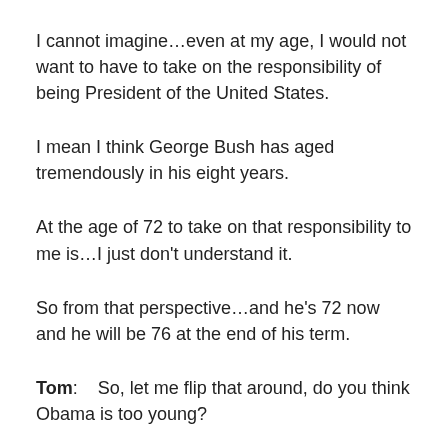I cannot imagine…even at my age, I would not want to have to take on the responsibility of being President of the United States.
I mean I think George Bush has aged tremendously in his eight years.
At the age of 72 to take on that responsibility to me is…I just don't understand it.
So from that perspective…and he's 72 now and he will be 76 at the end of his term.
Tom:    So, let me flip that around, do you think Obama is too young?